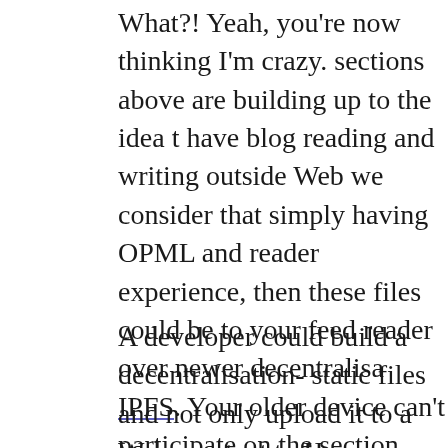What?! Yeah, you're now thinking I'm crazy. sections above are building up to the idea t have blog reading and writing outside Web we consider that simply having OPML and reader experience, then these files could be to your feed reader over newer decentralisa IPFS. Your older device can't participate on the section above can.
A developer could build a decentralisation- static files and not only upload it to a Web- content to Hypercore and IPFS networks. I need of having a Web server to be a blogge home, served to readers over Hypercore or
Not needing a server or enrollment on a se opportunity for people to participate in th